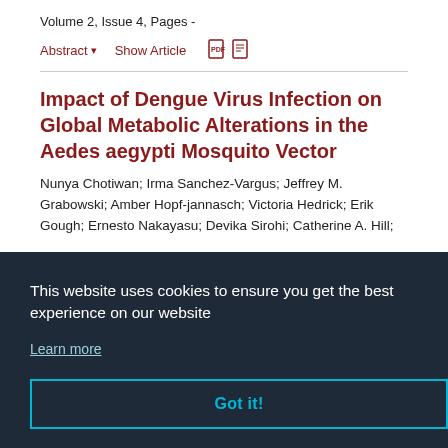Volume 2, Issue 4, Pages -
Abstract ▾    Show Article
Impact of Dengue Virus Infection on Global Metabolic Alterations in the Aedes aegypti Mosquito Vector
Nunya Chotiwan; Irma Sanchez-Vargus; Jeffrey M. Grabowski; Amber Hopf-jannasch; Victoria Hedrick; Erik Gough; Ernesto Nakayasu; Devika Sirohi; Catherine A. Hill;
This website uses cookies to ensure you get the best experience on our website
Learn more
Got it!
Phillips AT; Rico AB; Aboellail TA; Olson KE